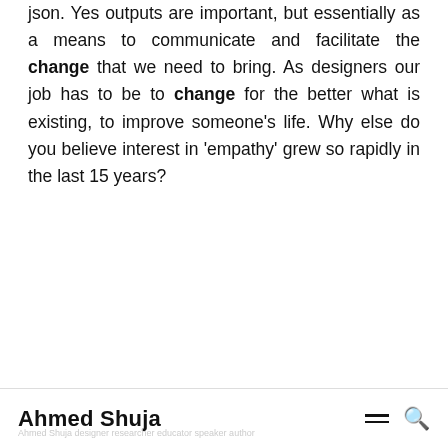json. Yes outputs are important, but essentially as a means to communicate and facilitate the change that we need to bring. As designers our job has to be to change for the better what is existing, to improve someone's life. Why else do you believe interest in 'empathy' grew so rapidly in the last 15 years?
Ahmed Shuja